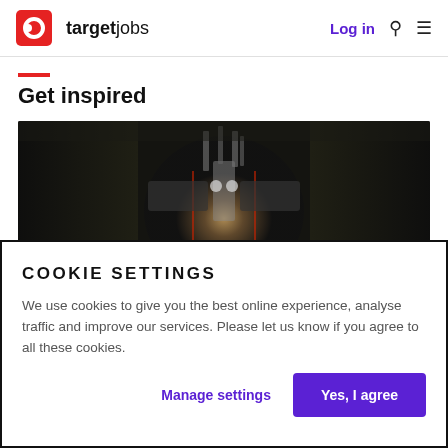targetjobs  Log in
Get inspired
[Figure (photo): A dark metallic robot or mechanical figure with glowing center, symmetrical, dark background with metallic textures and red highlights]
ADVICE
COOKIE SETTINGS
We use cookies to give you the best online experience, analyse traffic and improve our services. Please let us know if you agree to all these cookies.
Manage settings  Yes, I agree